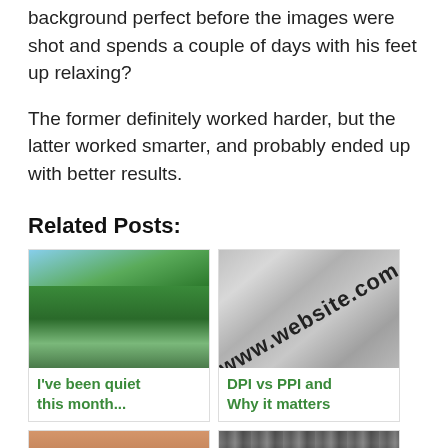background perfect before the images were shot and spends a couple of days with his feet up relaxing?
The former definitely worked harder, but the latter worked smarter, and probably ended up with better results.
Related Posts:
[Figure (photo): Photo of a green forest with trees and blue sky]
I've been quiet this month...
[Figure (photo): Close-up photo of a computer screen showing www.website.com text]
DPI vs PPI and Why it matters
[Figure (photo): Close-up photo of human skin/face]
[Figure (photo): Photo of metal objects/cylinders]